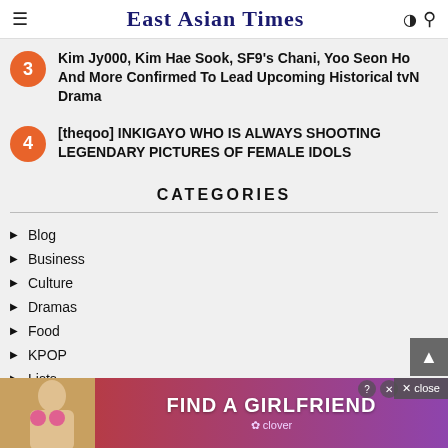East Asian Times
Kim Jy000, Kim Hae Sook, SF9's Chani, Yoo Seon Ho And More Confirmed To Lead Upcoming Historical tvN Drama
[theqoo] INKIGAYO WHO IS ALWAYS SHOOTING LEGENDARY PICTURES OF FEMALE IDOLS
CATEGORIES
Blog
Business
Culture
Dramas
Food
KPOP
Lists
Movies
Netizen
[Figure (infographic): Advertisement banner: FIND A GIRLFRIEND by Clover, with photo of a woman and close button]